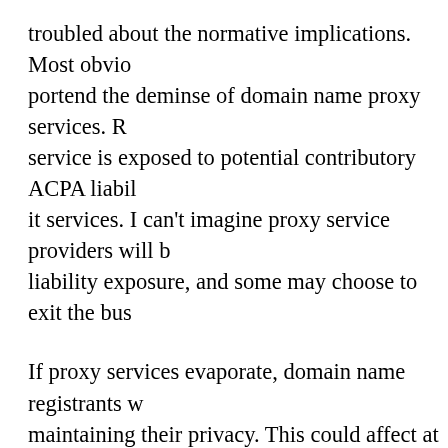troubled about the normative implications. Most obvio portend the deminse of domain name proxy services. R service is exposed to potential contributory ACPA liabil it services. I can't imagine proxy service providers will b liability exposure, and some may choose to exit the bus
If proxy services evaporate, domain name registrants w maintaining their privacy. This could affect at least two seeking to register domain names for unlaunched new procure the new brand's domain names without publici intentions through the Whois database. (Of course, sor such domain name through agents or shell companies, expense than a proxy service). Second, gripers, whistleb may want to use proxy services to make it harder for th their identities. This ruling jeopardizes the potential pr both groups.